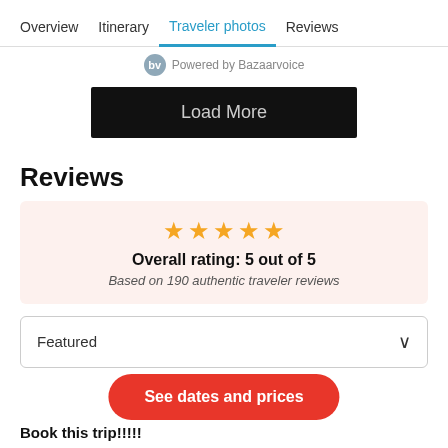Overview  Itinerary  Traveler photos  Reviews
Powered by Bazaarvoice
Load More
Reviews
Overall rating: 5 out of 5
Based on 190 authentic traveler reviews
Featured
See dates and prices
Book this trip!!!!!